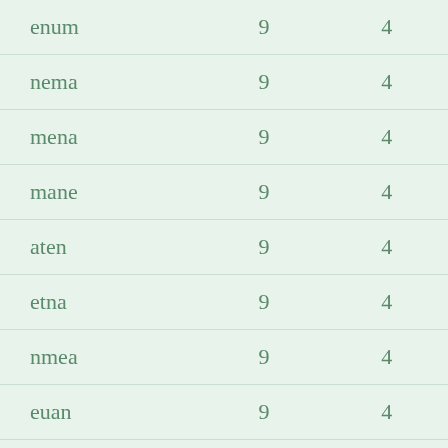| enum | 9 | 4 |
| nema | 9 | 4 |
| mena | 9 | 4 |
| mane | 9 | 4 |
| aten | 9 | 4 |
| etna | 9 | 4 |
| nmea | 9 | 4 |
| euan | 9 | 4 |
| tena | 9 | 4 |
| eten | 9 | 4 |